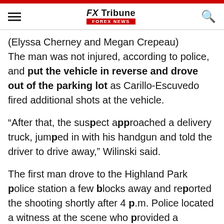FX Tribune FOREX NEWS
(Elyssa Cherney and Megan Crepeau)
The man was not injured, according to police, and put the vehicle in reverse and drove out of the parking lot as Carillo-Escuvedo fired additional shots at the vehicle.
“After that, the suspect approached a delivery truck, jumped in with his handgun and told the driver to drive away,” Wilinski said.
The first man drove to the Highland Park police station a few blocks away and reported the shooting shortly after 4 p.m. Police located a witness at the scene who provided a description of the delivery truck.
After the description was broadcast, Deerfield police